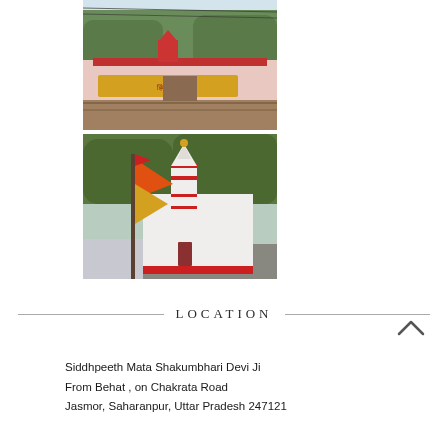[Figure (photo): Photograph of a Hindu temple gate/entrance with a pink/red structure, a yellow banner with Hindi text, and trees in the background.]
[Figure (photo): Photograph of a white Hindu temple with red trim and spire (shikhara), with colorful orange, yellow and red flags on a pole in the foreground, surrounded by trees.]
LOCATION
Siddhpeeth Mata Shakumbhari Devi Ji
From Behat , on Chakrata Road
Jasmor, Saharanpur, Uttar Pradesh 247121